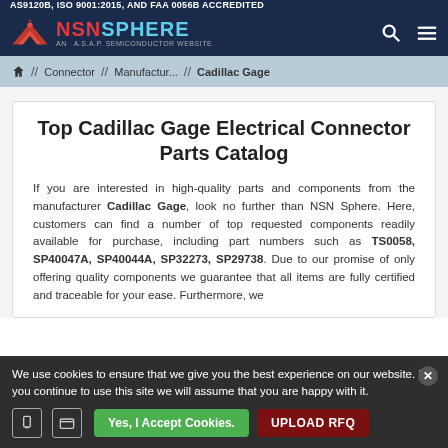AS9120B, ISO 9001:2015, AND FAA 0056B ACCREDITED
[Figure (logo): NSN Sphere logo - AN A.S.A.P. SEMICONDUCTOR WEBSITE with red and cyan text on dark navy header]
// Connector // Manufactur... // Cadillac Gage
Top Cadillac Gage Electrical Connector Parts Catalog
If you are interested in high-quality parts and components from the manufacturer Cadillac Gage, look no further than NSN Sphere. Here, customers can find a number of top requested components readily available for purchase, including part numbers such as TS0058, SP40047A, SP40044A, SP32273, SP29738. Due to our promise of only offering quality components we guarantee that all items are fully certified and traceable for your ease. Furthermore, we
We use cookies to ensure that we give you the best experience on our website. If you continue to use this site we will assume that you are happy with it.